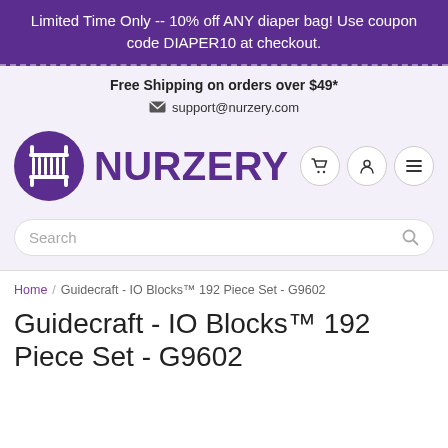Limited Time Only -- 10% off ANY diaper bag! Use coupon code DIAPER10 at checkout.
Free Shipping on orders over $49*
support@nurzery.com
[Figure (logo): Nurzery logo with purple circle containing a crib icon and the text NURZERY in purple bold font, with cart, user, and menu icon buttons on the right]
Search
Home / Guidecraft - IO Blocks™ 192 Piece Set - G9602
Guidecraft - IO Blocks™ 192 Piece Set - G9602